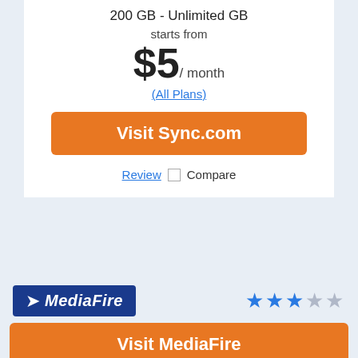200 GB - Unlimited GB
starts from
$5 / month
(All Plans)
Visit Sync.com
Review  Compare
[Figure (logo): MediaFire logo: blue rectangle with white arrow and bold italic white text 'MediaFire']
★★★☆☆ (2.5 stars out of 5)
Visit MediaFire
1000 GB - 100 TB starts from $3.75 / month (All Plans)